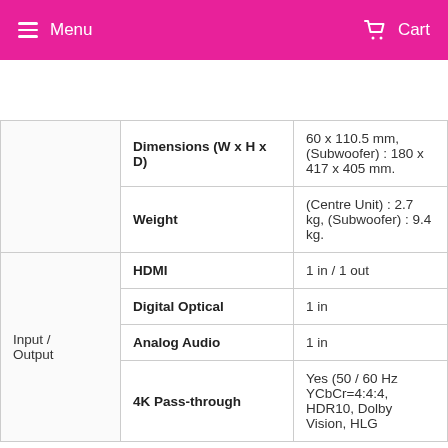Menu   Cart
| Category | Specification | Value |
| --- | --- | --- |
|  | Dimensions (W x H x D) | 60 x 110.5 mm, (Subwoofer) : 180 x 417 x 405 mm. |
|  | Weight | (Centre Unit) : 2.7 kg, (Subwoofer) : 9.4 kg. |
| Input / Output | HDMI | 1 in / 1 out |
|  | Digital Optical | 1 in |
|  | Analog Audio | 1 in |
|  | 4K Pass-through | Yes (50 / 60 Hz YCbCr=4:4:4, HDR10, Dolby Vision, HLG |